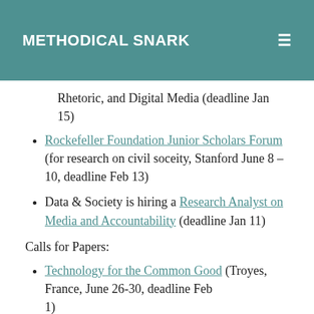METHODICAL SNARK
Rhetoric, and Digital Media (deadline Jan 15)
Rockefeller Foundation Junior Scholars Forum (for research on civil soceity, Stanford June 8 – 10, deadline Feb 13)
Data & Society is hiring a Research Analyst on Media and Accountability (deadline Jan 11)
Calls for Papers:
Technology for the Common Good (Troyes, France, June 26-30, deadline Feb 1)